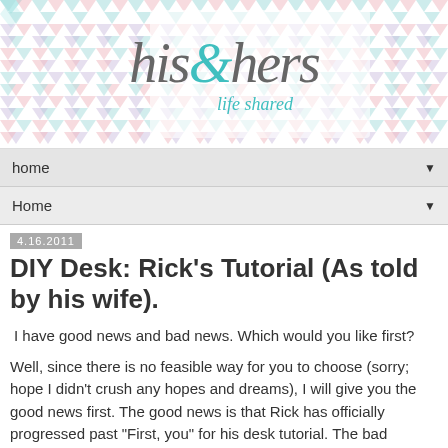[Figure (logo): Blog header banner with chevron pattern background in mint, pink, and lavender, with 'his & hers' logo text in gray serif italic and teal ampersand, subtitle 'life shared' in teal italic]
home ▼
Home ▼
4.16.2011
DIY Desk: Rick's Tutorial (As told by his wife).
I have good news and bad news. Which would you like first?
Well, since there is no feasible way for you to choose (sorry; hope I didn't crush any hopes and dreams), I will give you the good news first. The good news is that Rick has officially progressed past "First, you" for his desk tutorial. The bad